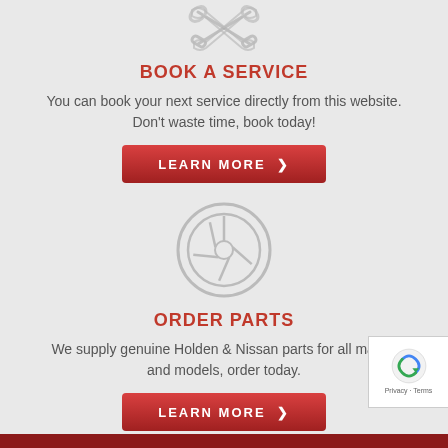[Figure (illustration): Two crossed wrench/tool icons in light gray outline style]
BOOK A SERVICE
You can book your next service directly from this website. Don't waste time, book today!
[Figure (illustration): Button or link labeled LEARN MORE with right-pointing chevron, red gradient background]
[Figure (illustration): Car wheel/tire icon in light gray outline style]
ORDER PARTS
We supply genuine Holden & Nissan parts for all makes and models, order today.
[Figure (illustration): Button or link labeled LEARN MORE with right-pointing chevron, red gradient background]
[Figure (illustration): Google reCAPTCHA badge showing Privacy and Terms links]